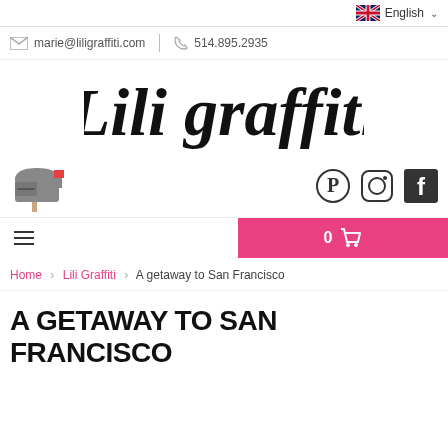English
marie@liligraffiti.com  514.895.2935
[Figure (logo): Lili graffiti cursive logo in black script]
[Figure (illustration): Mailbox icon with red flag on left; Pinterest, Instagram, Facebook social icons on right]
0 (cart)
Home › Lili Graffiti › A getaway to San Francisco
A GETAWAY TO SAN FRANCISCO